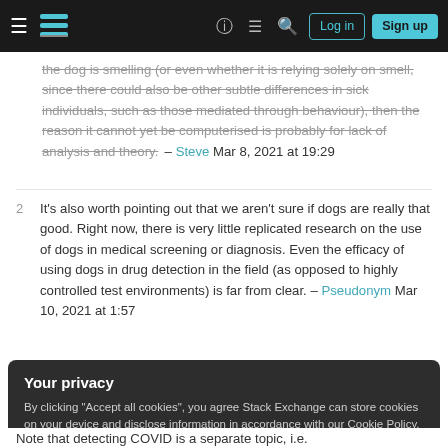Navigation bar with hamburger menu, Stack Exchange logo, help icon, chat icon, search icon, Log in button, Sign up button
the dog is smelling (or even whether it is relying solely on smell, since there could also be other subtle differences in sick individuals, such as those mediated through behaviour), then the reason it cannot yet be computerised is probably for lack of analysis and theory. – Steve Mar 8, 2021 at 19:29
2 It's also worth pointing out that we aren't sure if dogs are really that good. Right now, there is very little replicated research on the use of dogs in medical screening or diagnosis. Even the efficacy of using dogs in drug detection in the field (as opposed to highly controlled test environments) is far from clear. – Pseudonym Mar 10, 2021 at 1:57
Your privacy
By clicking "Accept all cookies", you agree Stack Exchange can store cookies on your device and disclose information in accordance with our Cookie Policy.
Accept all cookies  Customize settings
Note that detecting COVID is a separate topic, i.e.